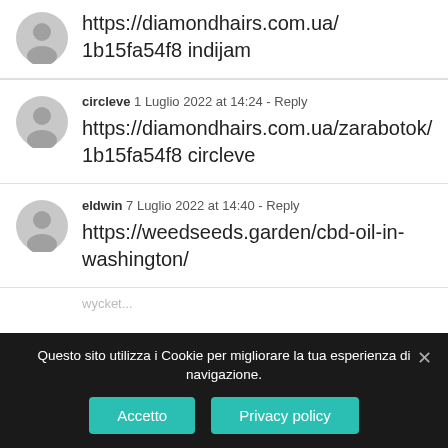https://diamondhairs.com.ua/ 1b15fa54f8 indijam
circleve  1 Luglio 2022 at 14:24 - Reply
https://diamondhairs.com.ua/zarabotok/ 1b15fa54f8 circleve
eldwin  7 Luglio 2022 at 14:40 - Reply
https://weedseeds.garden/cbd-oil-in-washington/
Questo sito utilizza i Cookie per migliorare la tua esperienza di navigazione.